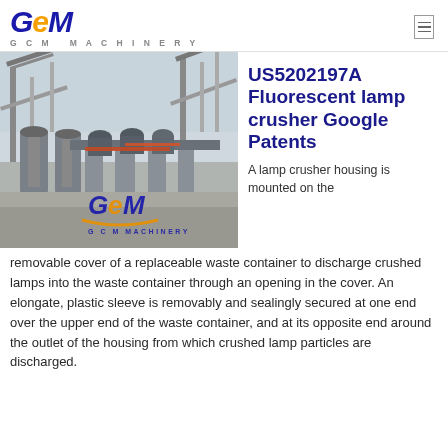GCM GCM MACHINERY
[Figure (photo): Industrial lamp/ore crusher machinery installation with conveyor structures and GCM Machinery branding overlay]
US5202197A Fluorescent lamp crusher Google Patents
A lamp crusher housing is mounted on the removable cover of a replaceable waste container to discharge crushed lamps into the waste container through an opening in the cover. An elongate, plastic sleeve is removably and sealingly secured at one end over the upper end of the waste container, and at its opposite end around the outlet of the housing from which crushed lamp particles are discharged.